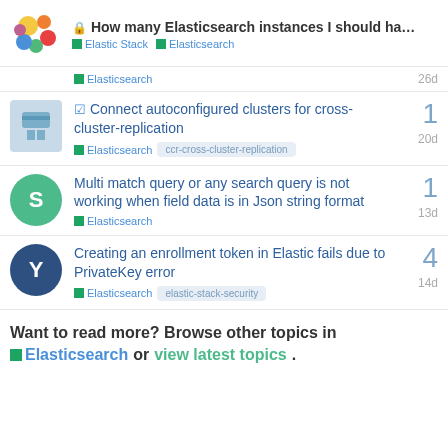How many Elasticsearch instances I should ha... | Elastic Stack | Elasticsearch
Elasticsearch  26d
Connect autoconfigured clusters for cross-cluster-replication
Elasticsearch  ccr-cross-cluster-replication  20d  1
Multi match query or any search query is not working when field data is in Json string format
Elasticsearch  13d  1
Creating an enrollment token in Elastic fails due to PrivateKey error
Elasticsearch  elastic-stack-security  14d  4
Want to read more? Browse other topics in Elasticsearch or view latest topics.